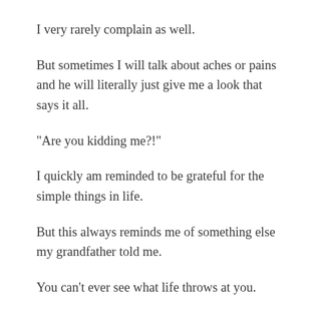I very rarely complain as well.
But sometimes I will talk about aches or pains and he will literally just give me a look that says it all.
"Are you kidding me?!"
I quickly am reminded to be grateful for the simple things in life.
But this always reminds me of something else my grandfather told me.
You can't ever see what life throws at you.